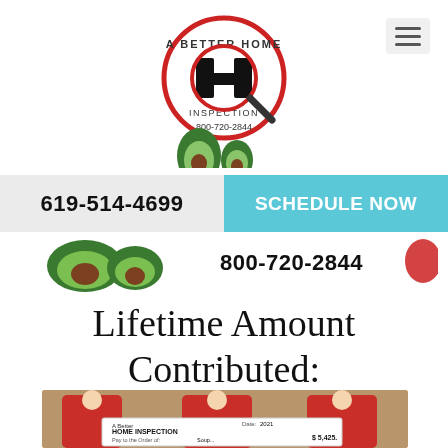[Figure (logo): A Better Home Inspection logo with magnifying glass, large H, avocado illustration, and phone number 800-720-2844]
[Figure (other): Hamburger menu icon (three horizontal lines) in a light gray box, top right corner]
619-514-4699
SCHEDULE NOW
800-720-2844
Lifetime Amount Contributed:
[Figure (photo): Three people in red shirts holding a large check from A Better Home Inspection, dated 2021, made out to a charity for $5,425]